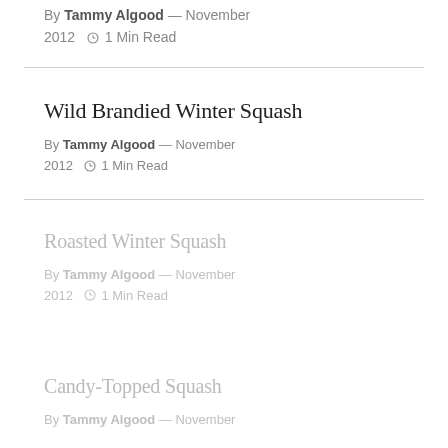By Tammy Algood — November 2012  🕐 1 Min Read
Wild Brandied Winter Squash
By Tammy Algood — November 2012  🕐 1 Min Read
Roasted Winter Squash
By Tammy Algood — November 2012  🕐 1 Min Read
Candy-Topped Squash
By Tammy Algood — November